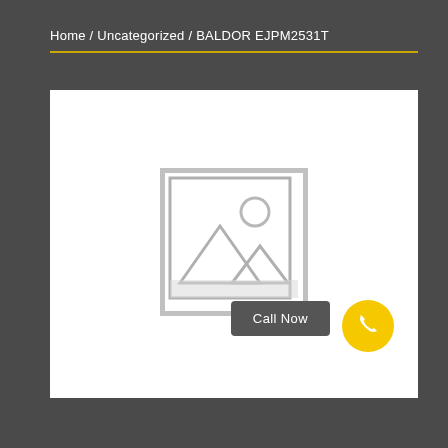Home / Uncategorized / BALDOR EJPM2531T
[Figure (illustration): Placeholder product image with a grey image icon (mountain/landscape and sun motif) on white background]
Call Now